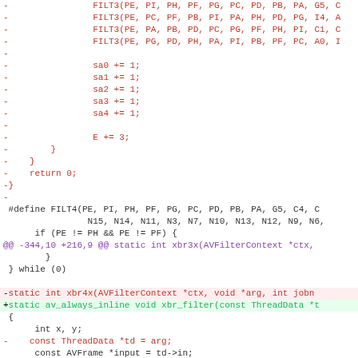Code diff showing removed lines with FILT3 macros, sa0-sa4 increments, E += 3, closing braces, return 0, closing brace, then #define FILT4 macro, @@ hunk header, while(0), and function signature changes for xbr4x/xbr_filter with added/removed lines.